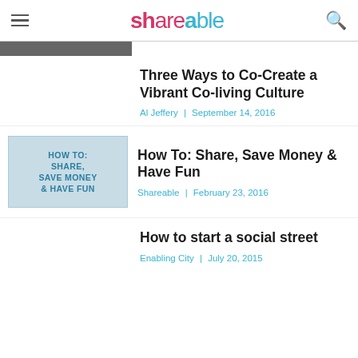Shareable
[Figure (photo): Partially visible cropped photo at top of article listing]
Three Ways to Co-Create a Vibrant Co-living Culture
Al Jeffery | September 14, 2016
[Figure (photo): Image with text overlay reading: HOW TO: SHARE, SAVE MONEY & HAVE FUN]
How To: Share, Save Money & Have Fun
Shareable | February 23, 2016
How to start a social street
Enabling City | July 20, 2015